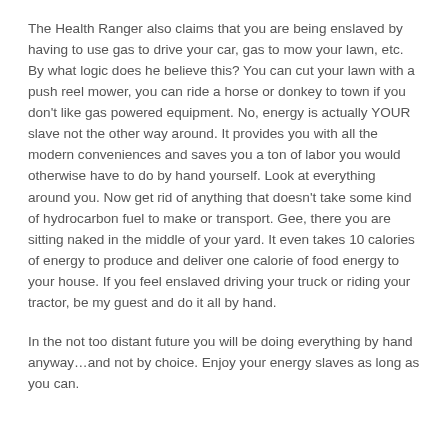The Health Ranger also claims that you are being enslaved by having to use gas to drive your car, gas to mow your lawn, etc. By what logic does he believe this? You can cut your lawn with a push reel mower, you can ride a horse or donkey to town if you don't like gas powered equipment. No, energy is actually YOUR slave not the other way around. It provides you with all the modern conveniences and saves you a ton of labor you would otherwise have to do by hand yourself. Look at everything around you. Now get rid of anything that doesn't take some kind of hydrocarbon fuel to make or transport. Gee, there you are sitting naked in the middle of your yard. It even takes 10 calories of energy to produce and deliver one calorie of food energy to your house. If you feel enslaved driving your truck or riding your tractor, be my guest and do it all by hand.
In the not too distant future you will be doing everything by hand anyway…and not by choice. Enjoy your energy slaves as long as you can.